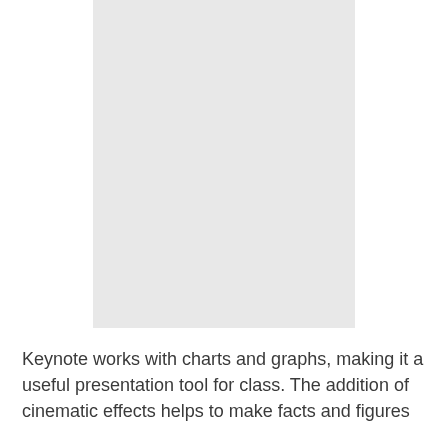[Figure (other): Light gray rectangular placeholder image occupying upper portion of the page]
Keynote works with charts and graphs, making it a useful presentation tool for class. The addition of cinematic effects helps to make facts and figures